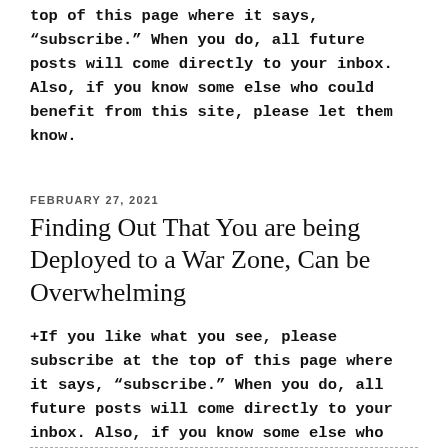top of this page where it says, “subscribe.” When you do, all future posts will come directly to your inbox. Also, if you know some else who could benefit from this site, please let them know.
FEBRUARY 27, 2021
Finding Out That You are being Deployed to a War Zone, Can be Overwhelming
+If you like what you see, please subscribe at the top of this page where it says, “subscribe.” When you do, all future posts will come directly to your inbox. Also, if you know some else who could benefit from this site, please let them know about it.